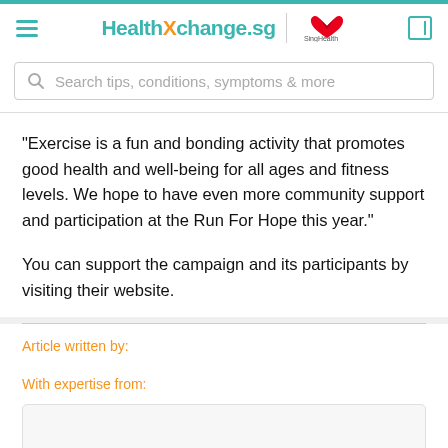HealthXchange.sg | SingHealth
Search tips, conditions, symptoms & more
"Exercise is a fun and bonding activity that promotes good health and well-being for all ages and fitness levels. We hope to have even more community support and participation at the Run For Hope this year."
You can support the campaign and its participants by visiting their website.
Article written by:
With expertise from: